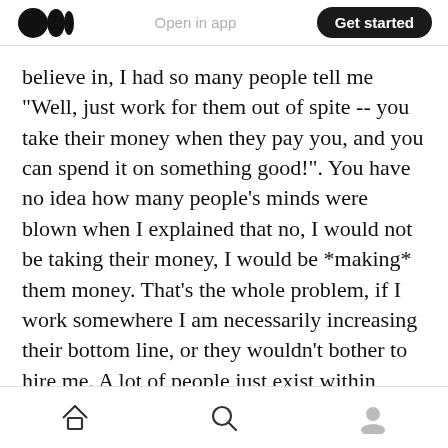Medium logo | Open in app | Get started
believe in, I had so many people tell me "Well, just work for them out of spite -- you take their money when they pay you, and you can spend it on something good!". You have no idea how many people's minds were blown when I explained that no, I would not be taking their money, I would be *making* them money. That's the whole problem, if I work somewhere I am necessarily increasing their bottom line, or they wouldn't bother to hire me. A lot of people just exist within these societal structures without actually understanding their role. Wild!
Home | Search | Profile